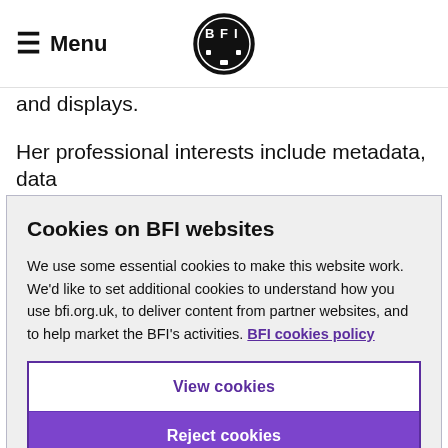☰ Menu | BFI logo
and displays.
Her professional interests include metadata, data
Cookies on BFI websites
We use some essential cookies to make this website work. We'd like to set additional cookies to understand how you use bfi.org.uk, to deliver content from partner websites, and to help market the BFI's activities. BFI cookies policy
View cookies
Reject cookies
Accept cookies